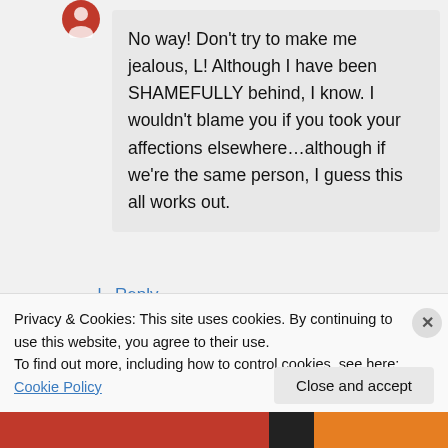No way! Don't try to make me jealous, L! Although I have been SHAMEFULLY behind, I know. I wouldn't blame you if you took your affections elsewhere…although if we're the same person, I guess this all works out.
↳ Reply
madtante on July 19, 2012 at 11:13 am
Privacy & Cookies: This site uses cookies. By continuing to use this website, you agree to their use. To find out more, including how to control cookies, see here: Cookie Policy
Close and accept